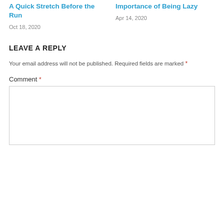A Quick Stretch Before the Run
Oct 18, 2020
Importance of Being Lazy
Apr 14, 2020
LEAVE A REPLY
Your email address will not be published. Required fields are marked *
Comment *